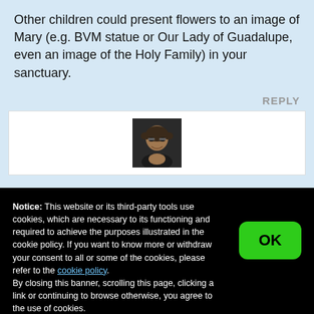Other children could present flowers to an image of Mary (e.g. BVM statue or Our Lady of Guadalupe, even an image of the Holy Family) in your sanctuary.
REPLY
[Figure (photo): Profile photo of a man wearing glasses, dark background]
Notice: This website or its third-party tools use cookies, which are necessary to its functioning and required to achieve the purposes illustrated in the cookie policy. If you want to know more or withdraw your consent to all or some of the cookies, please refer to the cookie policy.
By closing this banner, scrolling this page, clicking a link or continuing to browse otherwise, you agree to the use of cookies.